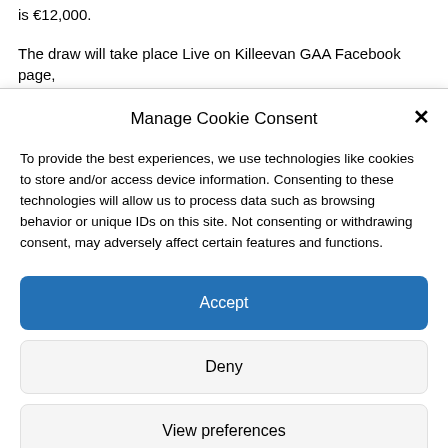is €12,000.
The draw will take place Live on Killeevan GAA Facebook page,
Manage Cookie Consent
To provide the best experiences, we use technologies like cookies to store and/or access device information. Consenting to these technologies will allow us to process data such as browsing behavior or unique IDs on this site. Not consenting or withdrawing consent, may adversely affect certain features and functions.
Accept
Deny
View preferences